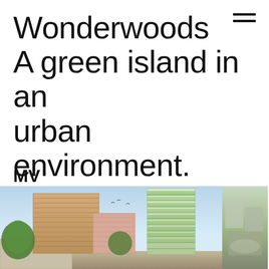Wonderwoods A green island in an urban environment.
[Figure (logo): MVSA logo — architectural firm logo with bold sans-serif text]
[Figure (illustration): Architectural rendering of Wonderwoods project showing two mixed-use towers — a brick-toned rectangular block on the left and a tall green-planted tower on the right — with lower podium buildings and trees in an urban context. A second partial image is visible to the right showing an aerial or street-level view.]